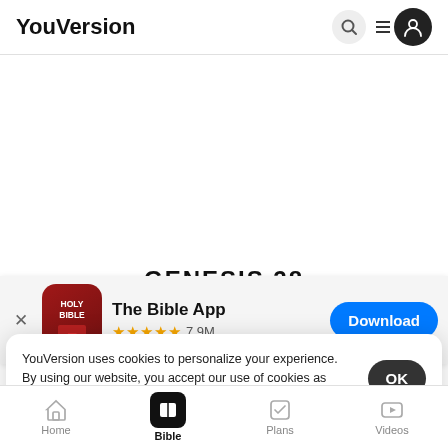YouVersion
GENESIS 28
[Figure (screenshot): The Bible App install banner with app icon, name, star rating, and Download button]
then Isaac called  Jacob and  blessed h
and cha
take a wife from the daughters of Canaan.
YouVersion uses cookies to personalize your experience. By using our website, you accept our use of cookies as described in our Privacy Policy.
Home  Bible  Plans  Videos